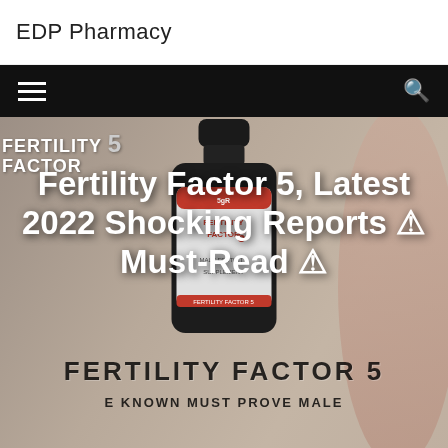EDP Pharmacy
[Figure (screenshot): Website screenshot showing EDP Pharmacy navigation bar with hamburger menu and search icon, followed by a hero banner featuring Fertility Factor 5 product bottle, logo, and a woman in the background. Large white bold text overlay reads 'Fertility Factor 5, Latest 2022 Shocking Reports - ⚠ Must-Read ⚠']
Fertility Factor 5, Latest 2022 Shocking Reports - ⚠ Must-Read ⚠